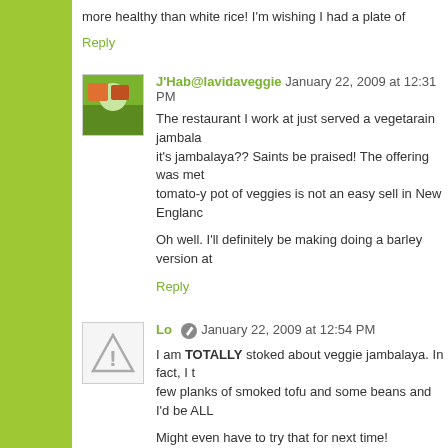more healthy than white rice! I'm wishing I had a plate of
Reply
J'Hab@lavidaveggie  January 22, 2009 at 12:31 PM
The restaurant I work at just served a vegetarain jambala it's jambalaya?? Saints be praised! The offering was met tomato-y pot of veggies is not an easy sell in New Englanc
Oh well. I'll definitely be making doing a barley version at
Reply
Lo  January 22, 2009 at 12:54 PM
I am TOTALLY stoked about veggie jambalaya. In fact, I t few planks of smoked tofu and some beans and I'd be ALL
Might even have to try that for next time!
Reply